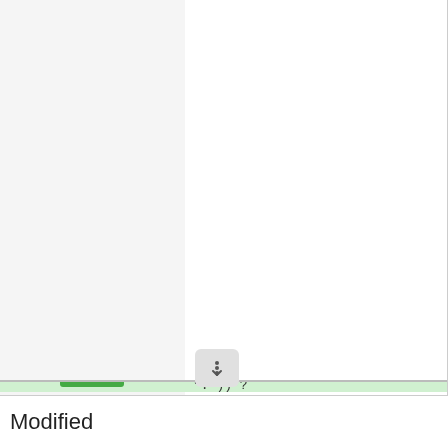[Figure (screenshot): Code diff view showing lines 26-46 of an HTML/PHP file with line numbers, additions (green) and deletions (red) highlighted. Lines show HTML structure with nav, div, script tags and PHP inline code. Bottom section shows 'Modified' label.]
Modified